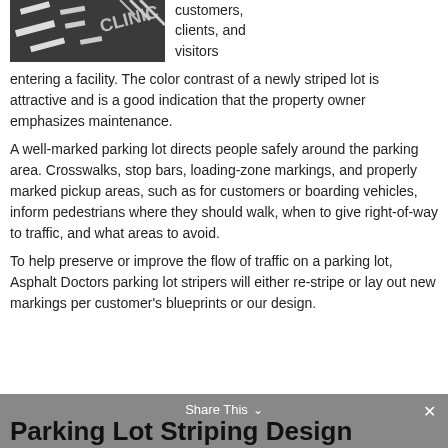[Figure (photo): Aerial/close-up view of parking lot asphalt with white striping markings, dark pavement visible]
customers, clients, and visitors entering a facility. The color contrast of a newly striped lot is attractive and is a good indication that the property owner emphasizes maintenance.
A well-marked parking lot directs people safely around the parking area. Crosswalks, stop bars, loading-zone markings, and properly marked pickup areas, such as for customers or boarding vehicles, inform pedestrians where they should walk, when to give right-of-way to traffic, and what areas to avoid.
To help preserve or improve the flow of traffic on a parking lot, Asphalt Doctors parking lot stripers will either re-stripe or lay out new markings per customer's blueprints or our design.
Parking Lot Striping Design